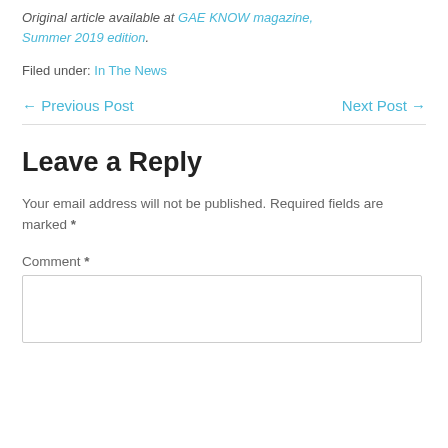Original article available at GAE KNOW magazine, Summer 2019 edition.
Filed under: In The News
← Previous Post    Next Post →
Leave a Reply
Your email address will not be published. Required fields are marked *
Comment *